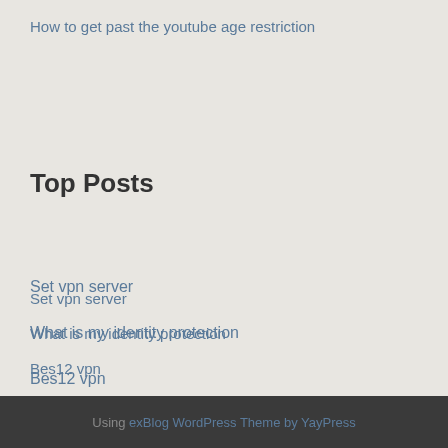How to get past the youtube age restriction
Top Posts
Set vpn server
What is my identity protection
Bes12 vpn
Sites like kickasstorrents
Pirate bay reviews
Using exBlog WordPress Theme by YayPress